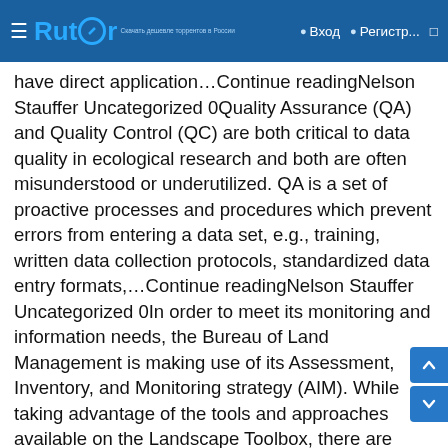Rutor — Вход Регистр...
have direct application…Continue readingNelson Stauffer Uncategorized 0Quality Assurance (QA) and Quality Control (QC) are both critical to data quality in ecological research and both are often misunderstood or underutilized. QA is a set of proactive processes and procedures which prevent errors from entering a data set, e.g., training, written data collection protocols, standardized data entry formats,…Continue readingNelson Stauffer Uncategorized 0In order to meet its monitoring and information needs, the Bureau of Land Management is making use of its Assessment, Inventory, and Monitoring strategy (AIM). While taking advantage of the tools and approaches available on the Landscape Toolbox, there are additional implementation requirements concerning the particulars of sample design, data…Continue readingNelson Stauffer Methods Guide, Monitoring Manual, Training 0We've added two new videos demonstrating and explaining the Core Methods of Plant species inventory and Vegetation height to our collection. These are two methods that previously didn't have reference videos, although the rules and procedures for both